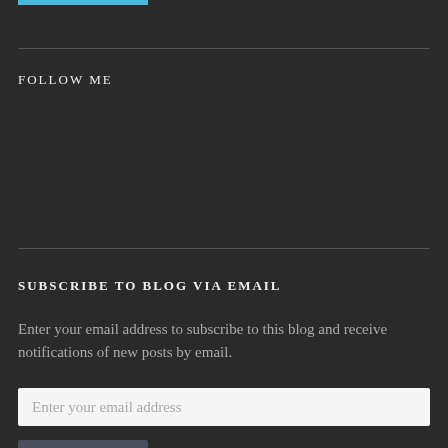FOLLOW ME
SUBSCRIBE TO BLOG VIA EMAIL
Enter your email address to subscribe to this blog and receive notifications of new posts by email.
Enter your email address
Subscribe